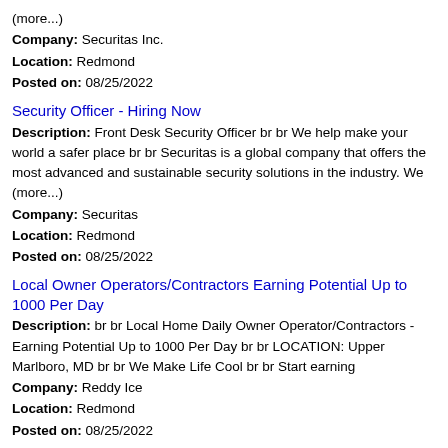(more...)
Company: Securitas Inc.
Location: Redmond
Posted on: 08/25/2022
Security Officer - Hiring Now
Description: Front Desk Security Officer br br We help make your world a safer place br br Securitas is a global company that offers the most advanced and sustainable security solutions in the industry. We (more...)
Company: Securitas
Location: Redmond
Posted on: 08/25/2022
Local Owner Operators/Contractors Earning Potential Up to 1000 Per Day
Description: br br Local Home Daily Owner Operator/Contractors - Earning Potential Up to 1000 Per Day br br LOCATION: Upper Marlboro, MD br br We Make Life Cool br br Start earning
Company: Reddy Ice
Location: Redmond
Posted on: 08/25/2022